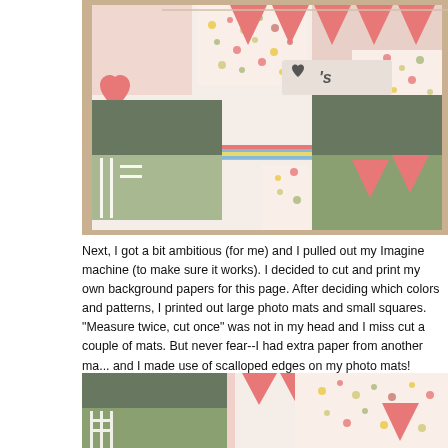[Figure (photo): Close-up photo of a scrapbook layout featuring pink/coral triangular pennant flags, patterned paper with colorful dots, pink heart cutouts, striped washi tape border, and photos of trees/outdoor scenes arranged on a light background]
Next, I got a bit ambitious (for me) and I pulled out my Imagine machine (to make sure it works). I decided to cut and print my own background papers for this page. After deciding which colors and patterns, I printed out large photo mats and small squares.  "Measure twice, cut once" was not in my head and I miss cut a couple of mats. But never fear--I had extra paper from another ma... and I made use of scalloped edges on my photo mats!
[Figure (photo): Partial view of a scrapbook layout showing photos of outdoor/tree scenes, pink triangular pennant flags, patterned paper with colorful polka dots, and pink coral paper elements]